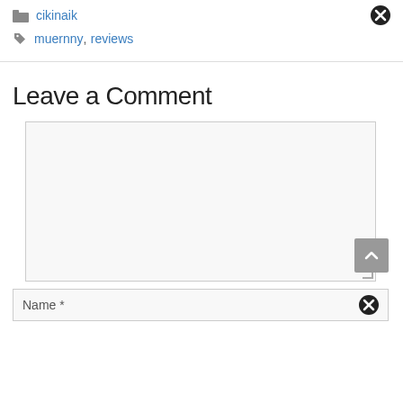cikinaik
muernny, reviews
Leave a Comment
[Figure (screenshot): Large text input textarea with light gray background and border, with a resize handle at bottom-right and a gray scroll-to-top button with upward chevron overlaid at bottom-right]
Name *